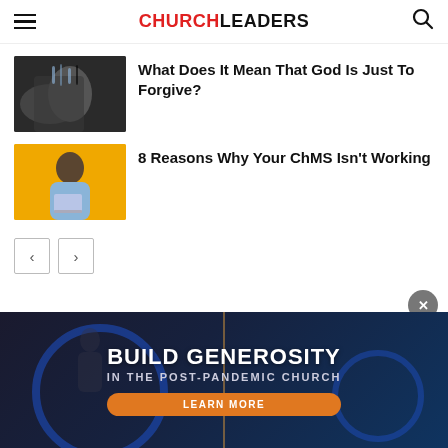CHURCHLEADERS
What Does It Mean That God Is Just To Forgive?
8 Reasons Why Your ChMS Isn't Working
[Figure (screenshot): Close-up of hands with water flowing over them, dark background]
[Figure (screenshot): Man in light blue shirt holding a laptop on a bright yellow/orange background]
[Figure (infographic): Ad banner: BUILD GENEROSITY IN THE POST-PANDEMIC CHURCH with a LEARN MORE orange button on dark blue background with circular design elements]